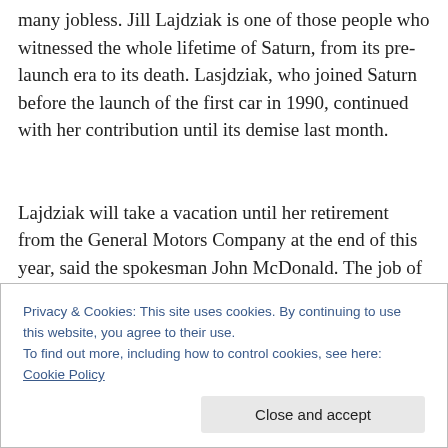many jobless. Jill Lajdziak is one of those people who witnessed the whole lifetime of Saturn, from its pre-launch era to its death. Lasjdziak, who joined Saturn before the launch of the first car in 1990, continued with her contribution until its demise last month.
Lajdziak will take a vacation until her retirement from the General Motors Company at the end of this year, said the spokesman John McDonald. The job of bringing a great era to a close is left to the GM's general manager of the
Privacy & Cookies: This site uses cookies. By continuing to use this website, you agree to their use.
To find out more, including how to control cookies, see here: Cookie Policy